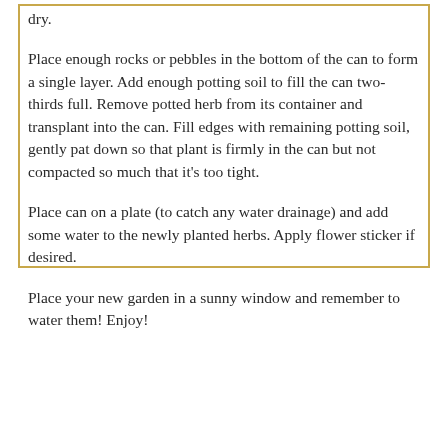dry.
Place enough rocks or pebbles in the bottom of the can to form a single layer. Add enough potting soil to fill the can two-thirds full. Remove potted herb from its container and transplant into the can. Fill edges with remaining potting soil, gently pat down so that plant is firmly in the can but not compacted so much that it’s too tight.
Place can on a plate (to catch any water drainage) and add some water to the newly planted herbs. Apply flower sticker if desired.
Place your new garden in a sunny window and remember to water them! Enjoy!